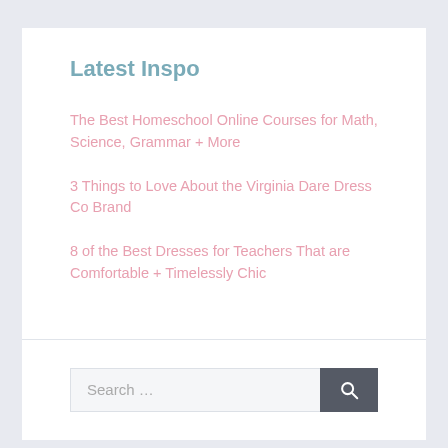Latest Inspo
The Best Homeschool Online Courses for Math, Science, Grammar + More
3 Things to Love About the Virginia Dare Dress Co Brand
8 of the Best Dresses for Teachers That are Comfortable + Timelessly Chic
Search …